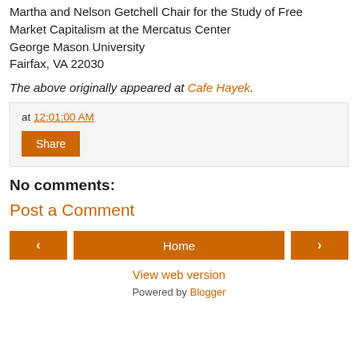Martha and Nelson Getchell Chair for the Study of Free Market Capitalism at the Mercatus Center George Mason University Fairfax, VA 22030
The above originally appeared at Cafe Hayek.
at 12:01:00 AM
Share
No comments:
Post a Comment
< Home > View web version Powered by Blogger